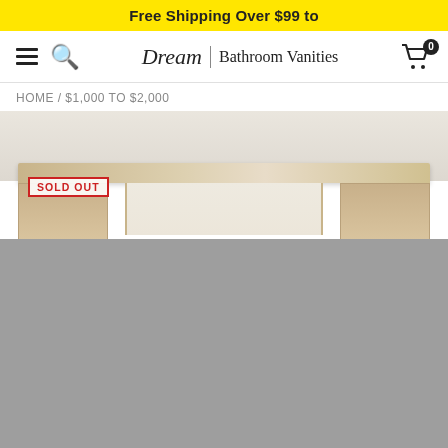Free Shipping Over $99 to
[Figure (screenshot): Navigation bar with hamburger menu, search icon, Dream Bathroom Vanities logo, and shopping cart with 0 items badge]
HOME / $1,000 TO $2,000
[Figure (photo): Product photo of a wooden bathroom vanity with a SOLD OUT badge overlay. The top portion shows a light wood vanity with frame structure against a light gray wall. The bottom portion is a gray loading placeholder.]